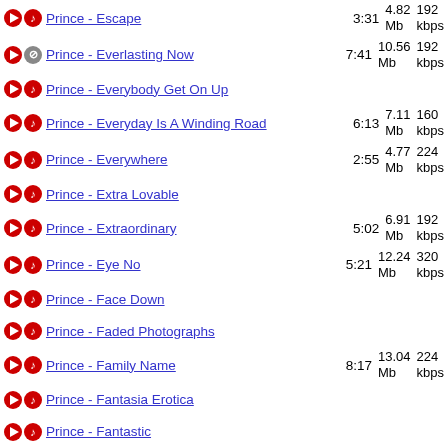Prince - Escape | 3:31 | 4.82 Mb | 192 kbps
Prince - Everlasting Now | 7:41 | 10.56 Mb | 192 kbps
Prince - Everybody Get On Up
Prince - Everyday Is A Winding Road | 6:13 | 7.11 Mb | 160 kbps
Prince - Everywhere | 2:55 | 4.77 Mb | 224 kbps
Prince - Extra Lovable
Prince - Extraordinary | 5:02 | 6.91 Mb | 192 kbps
Prince - Eye No | 5:21 | 12.24 Mb | 320 kbps
Prince - Face Down
Prince - Faded Photographs
Prince - Family Name | 8:17 | 13.04 Mb | 224 kbps
Prince - Fantasia Erotica
Prince - Fantastic
Prince - Fascination | 4:55 | 11.27 Mb | 320 kbps
Prince - Feel Good
Prince - Feel U Up | 5.13 Mb | 192 kbps